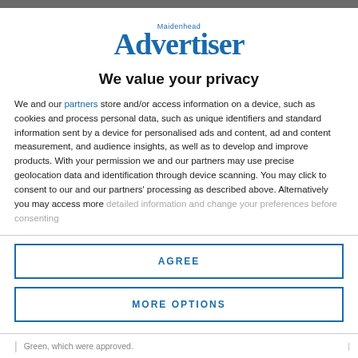[Figure (logo): Maidenhead Advertiser logo in blue serif font]
We value your privacy
We and our partners store and/or access information on a device, such as cookies and process personal data, such as unique identifiers and standard information sent by a device for personalised ads and content, ad and content measurement, and audience insights, as well as to develop and improve products. With your permission we and our partners may use precise geolocation data and identification through device scanning. You may click to consent to our and our partners' processing as described above. Alternatively you may access more detailed information and change your preferences before consenting
AGREE
MORE OPTIONS
Green, which were approved.